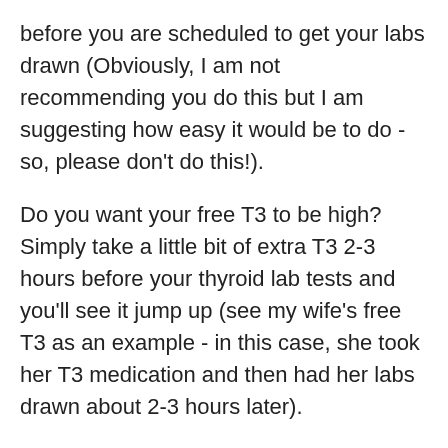before you are scheduled to get your labs drawn (Obviously, I am not recommending you do this but I am suggesting how easy it would be to do - so, please don't do this!).
Do you want your free T3 to be high? Simply take a little bit of extra T3 2-3 hours before your thyroid lab tests and you'll see it jump up (see my wife's free T3 as an example - in this case, she took her T3 medication and then had her labs drawn about 2-3 hours later).